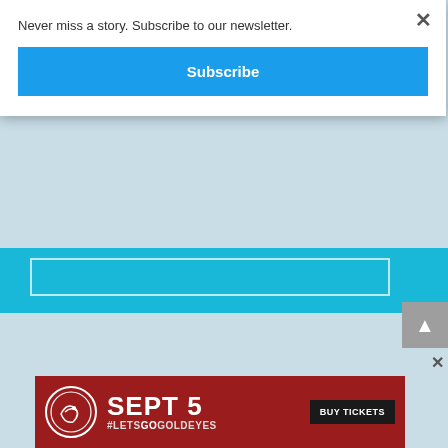Never miss a story. Subscribe to our newsletter.
[Figure (screenshot): Blue Subscribe button in newsletter modal popup]
[Figure (screenshot): Partial teal blue bar with white outlined input box visible behind modal]
[Figure (screenshot): Grey scroll-to-top arrow button on right side]
[Figure (screenshot): Red advertisement banner: SEPT 5 #LETSGOGOLDEYES BUY TICKETS with logo]